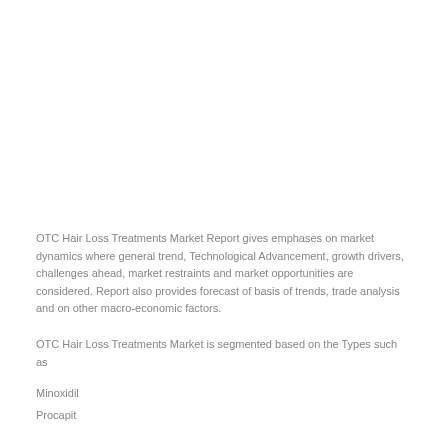OTC Hair Loss Treatments Market Report gives emphases on market dynamics where general trend, Technological Advancement, growth drivers, challenges ahead, market restraints and market opportunities are considered. Report also provides forecast of basis of trends, trade analysis and on other macro-economic factors.
OTC Hair Loss Treatments Market is segmented based on the Types such as
Minoxidil
Procapit